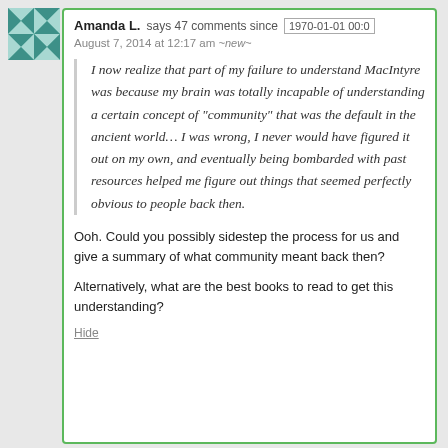[Figure (illustration): User avatar — teal/green geometric quilt-pattern square icon]
Amanda L. says 47 comments since 1970-01-01 00:0
August 7, 2014 at 12:17 am ~new~
I now realize that part of my failure to understand MacIntyre was because my brain was totally incapable of understanding a certain concept of "community" that was the default in the ancient world… I was wrong, I never would have figured it out on my own, and eventually being bombarded with past resources helped me figure out things that seemed perfectly obvious to people back then.
Ooh. Could you possibly sidestep the process for us and give a summary of what community meant back then?
Alternatively, what are the best books to read to get this understanding?
Hide